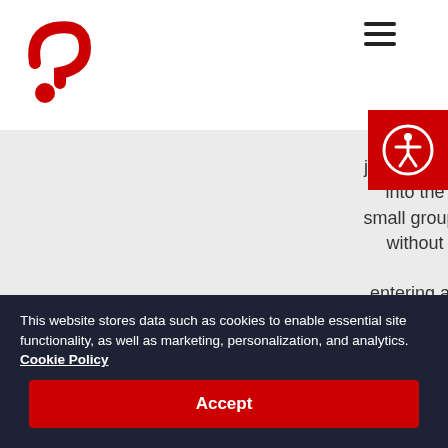[Figure (logo): Red question mark logo on white background]
[Figure (illustration): Hamburger menu icon (three horizontal lines)]
[Figure (illustration): Red accessibility icon button with person-in-circle symbol]
users will join straight into the small group without entering a waiting room
This website stores data such as cookies to enable essential site functionality, as well as marketing, personalization, and analytics. Cookie Policy
Accept
Deny